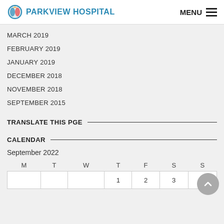PARKVIEW HOSPITAL  MENU
MARCH 2019
FEBRUARY 2019
JANUARY 2019
DECEMBER 2018
NOVEMBER 2018
SEPTEMBER 2015
TRANSLATE THIS PGE
CALENDAR
September 2022
| M | T | W | T | F | S | S |
| --- | --- | --- | --- | --- | --- | --- |
|  |  |  | 1 | 2 | 3 | 4 |